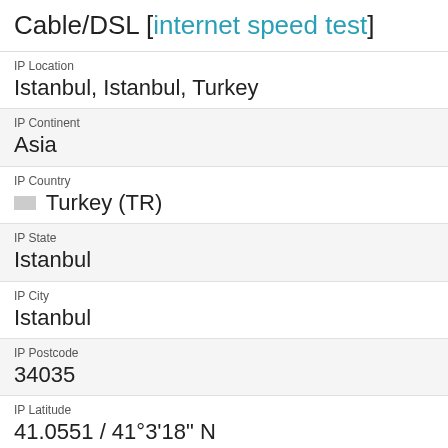Cable/DSL [internet speed test]
IP Location
Istanbul, Istanbul, Turkey
IP Continent
Asia
IP Country
🇹🇷 Turkey (TR)
IP State
Istanbul
IP City
Istanbul
IP Postcode
34035
IP Latitude
41.0551 / 41°3'18" N
IP Longitude
28.9347 / 28°56'4" E